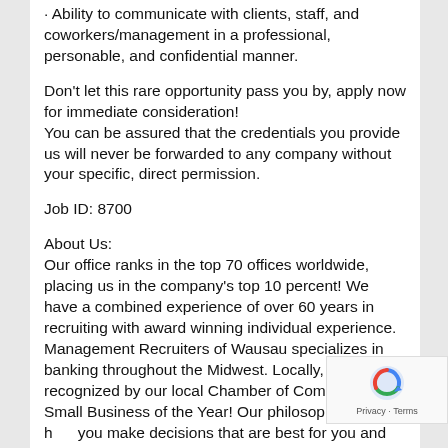Ability to communicate with clients, staff, and coworkers/management in a professional, personable, and confidential manner.
Don't let this rare opportunity pass you by, apply now for immediate consideration!
You can be assured that the credentials you provide us will never be forwarded to any company without your specific, direct permission.
Job ID: 8700
About Us:
Our office ranks in the top 70 offices worldwide, placing us in the company's top 10 percent! We have a combined experience of over 60 years in recruiting with award winning individual experience.
Management Recruiters of Wausau specializes in banking throughout the Midwest. Locally, we've been recognized by our local Chamber of Commerce as a Small Business of the Year! Our philosophy is to help you make decisions that are best for you and your family.